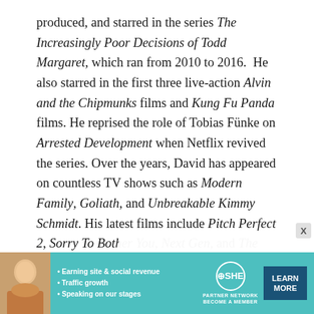produced, and starred in the series The Increasingly Poor Decisions of Todd Margaret, which ran from 2010 to 2016.  He also starred in the first three live-action Alvin and the Chipmunks films and Kung Fu Panda films. He reprised the role of Tobias Fünke on Arrested Development when Netflix revived the series. Over the years, David has appeared on countless TV shows such as Modern Family, Goliath, and Unbreakable Kimmy Schmidt. His latest films include Pitch Perfect 2, Sorry To Bother You, Next Gen, and The Dark Divide.
[Figure (infographic): Advertisement banner for SHE Partner Network with teal background, photo of a woman, bullet points about earning site & social revenue, traffic growth, speaking on our stages, SHE logo, and a LEARN MORE button.]